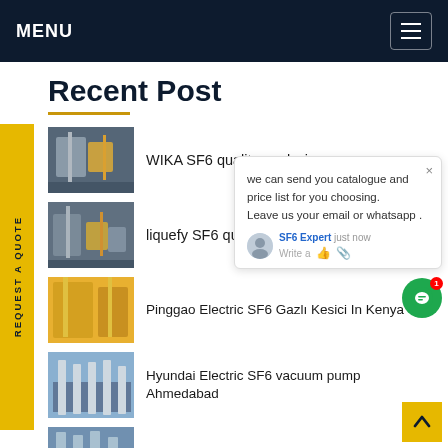MENU
Recent Post
WIKA SF6 quality analysi...
liquefy SF6 quality analy...
Pinggao Electric SF6 Gazlı Kesici In Kenya
Hyundai Electric SF6 vacuum pump Ahmedabad
Enervac SF6 density monitor in jakarta...
REQUEST A QUOTE
we can send you catalogue and price list for you choosing.
Leave us your email or whatsapp .
SF6 Expert   just now
Write a